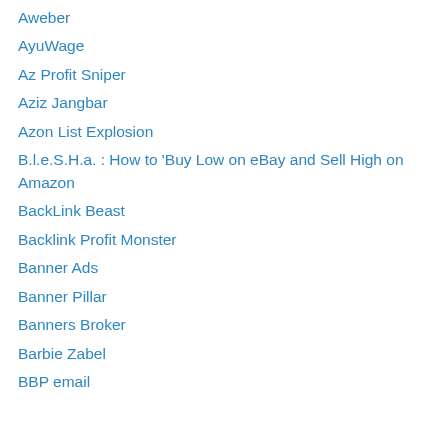Aweber
AyuWage
Az Profit Sniper
Aziz Jangbar
Azon List Explosion
B.l.e.S.H.a. : How to 'Buy Low on eBay and Sell High on Amazon
BackLink Beast
Backlink Profit Monster
Banner Ads
Banner Pillar
Banners Broker
Barbie Zabel
BBP email
Privacy & Cookies: This site uses cookies. By continuing to use this website, you agree to their use. To find out more, including how to control cookies, see here: Cookie Policy